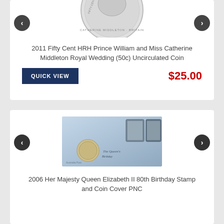[Figure (photo): Coin image showing HRH Prince William and Miss Catherine Middleton Royal Wedding 50c coin, partially cropped at top]
2011 Fifty Cent HRH Prince William and Miss Catherine Middleton Royal Wedding (50c) Uncirculated Coin
QUICK VIEW
$25.00
[Figure (photo): 2006 Her Majesty Queen Elizabeth II 80th Birthday Stamp and Coin Cover PNC product image showing a commemorative envelope with stamps and coin]
2006 Her Majesty Queen Elizabeth II 80th Birthday Stamp and Coin Cover PNC